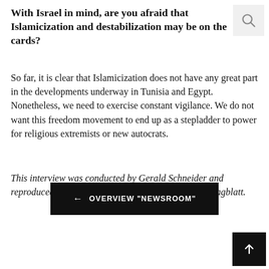With Israel in mind, are you afraid that Islamicization and destabilization may be on the cards?
So far, it is clear that Islamicization does not have any great part in the developments underway in Tunisia and Egypt. Nonetheless, we need to exercise constant vigilance. We do not want this freedom movement to end up as a stepladder to power for religious extremists or new autocrats.
This interview was conducted by Gerald Schneider and reproduced with kind permission of the Straubinger Tagblatt.
← OVERVIEW "NEWSROOM"